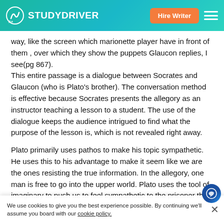STUDYDRIVER | Hire Writer
way, like the screen which marionette player have in front of them , over which they show the puppets Glaucon replies, I see(pg 867).
This entire passage is a dialogue between Socrates and Glaucon (who is Plato's brother). The conversation method is effective because Socrates presents the allegory as an instructor teaching a lesson to a student. The use of the dialogue keeps the audience intrigued to find what the purpose of the lesson is, which is not revealed right away.
Plato primarily uses pathos to make his topic sympathetic. He uses this to his advantage to make it seem like we are the ones resisting the true information. In the allegory, one man is free to go into the upper world. Plato uses the tool of imaginary to push us to feel sympathetic to the prisoner that is freed. He states: